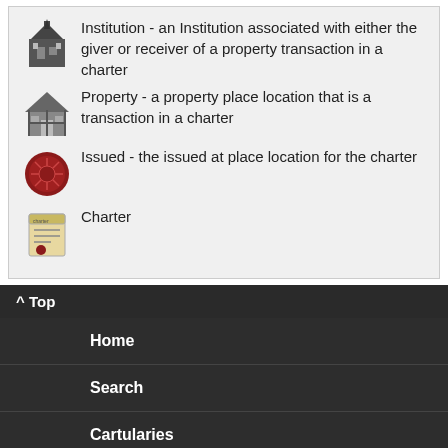Institution - an Institution associated with either the giver or receiver of a property transaction in a charter
Property - a property place location that is a transaction in a charter
Issued - the issued at place location for the charter
Charter
^ Top
Home
Search
Cartularies
Dater